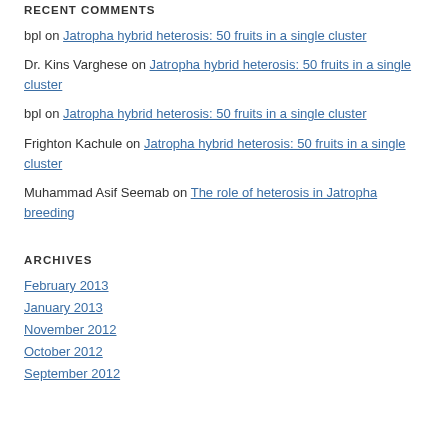RECENT COMMENTS
bpl on Jatropha hybrid heterosis: 50 fruits in a single cluster
Dr. Kins Varghese on Jatropha hybrid heterosis: 50 fruits in a single cluster
bpl on Jatropha hybrid heterosis: 50 fruits in a single cluster
Frighton Kachule on Jatropha hybrid heterosis: 50 fruits in a single cluster
Muhammad Asif Seemab on The role of heterosis in Jatropha breeding
ARCHIVES
February 2013
January 2013
November 2012
October 2012
September 2012